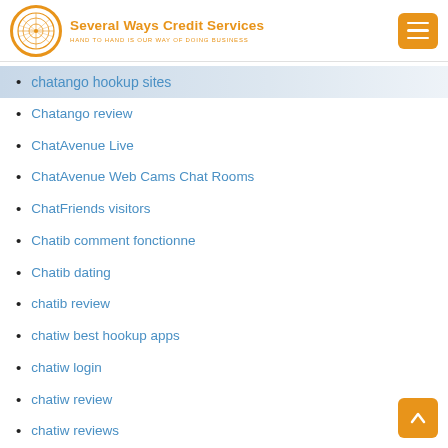Several Ways Credit Services — HAND TO HAND IS OUR WAY OF DOING BUSINESS
chatango hookup sites
Chatango review
ChatAvenue Live
ChatAvenue Web Cams Chat Rooms
ChatFriends visitors
Chatib comment fonctionne
Chatib dating
chatib review
chatiw best hookup apps
chatiw login
chatiw review
chatiw reviews
chatki gratis
chatki hookup sites
Chatki review
chatki reviews
Chatki visitors
chatki was kostet
Chatrandom en ligne